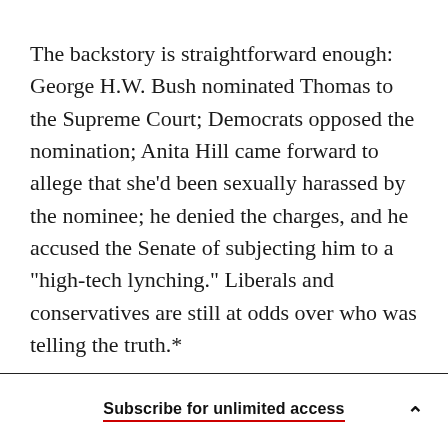The backstory is straightforward enough: George H.W. Bush nominated Thomas to the Supreme Court; Democrats opposed the nomination; Anita Hill came forward to allege that she'd been sexually harassed by the nominee; he denied the charges, and he accused the Senate of subjecting him to a "high-tech lynching." Liberals and conservatives are still at odds over who was telling the truth.*
When the controversy began, Limbaugh reminisces, he didn't know who the nominee was.
Subscribe for unlimited access